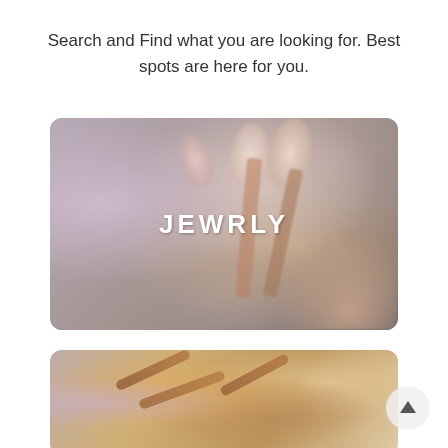Search and Find what you are looking for. Best spots are here for you.
[Figure (photo): A blurry close-up photo of makeup brushes with pink and cream bristle tips, overlaid with bold white text 'JEWRLY' in the center]
[Figure (photo): A close-up photo of decorative sandals with brown studded straps on a warm yellowish background, partially visible at bottom of page]